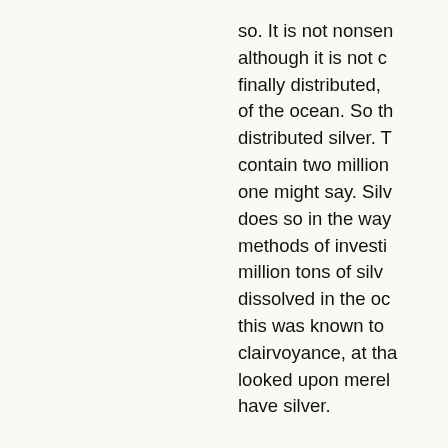so. It is not nonsense, although it is not completely finally distributed, of the ocean. So the distributed silver. T contain two million one might say. Silv does so in the way methods of investi million tons of silv dissolved in the oc this was known to clairvoyance, at tha looked upon merel have silver.
I could go further; here and there, all